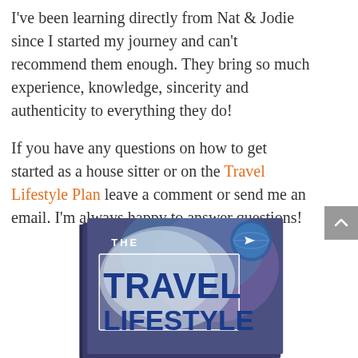I've been learning directly from Nat & Jodie since I started my journey and can't recommend them enough. They bring so much experience, knowledge, sincerity and authenticity to everything they do!
If you have any questions on how to get started as a house sitter or on the Travel Lifestyle Plan leave a comment or send me an email. I'm always happy to answer questions!
[Figure (photo): Book cover showing 'THE TRAVEL LIFESTYLE' in bold blue text on a blue/purple background with a globe-like image, styled as a 3D book]